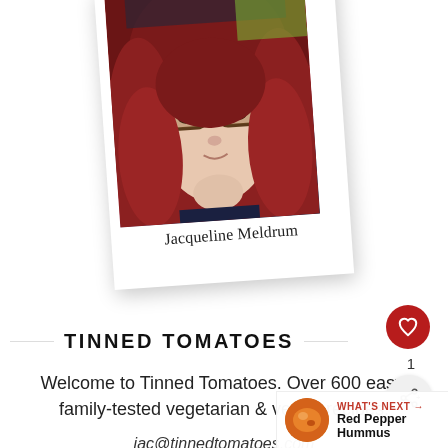[Figure (photo): Polaroid-style photo of Jacqueline Meldrum, a woman with red/burgundy hair and glasses, with her name written below the photo in serif font.]
TINNED TOMATOES
Welcome to Tinned Tomatoes. Over 600 easy, family-tested vegetarian & vegan recipes.
jac@tinnedtomatoes.com